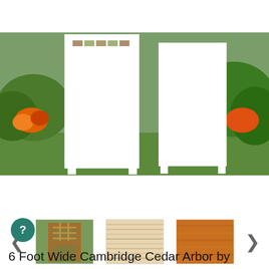[Figure (photo): White lattice/trellis garden arbor panels standing on green grass with flowers and foliage in the background]
[Figure (photo): Thumbnail: Cedar arbor structure with lattice sides]
[Figure (photo): Thumbnail: Light natural cedar wood grain texture]
[Figure (photo): Thumbnail: Darker honey/amber stained cedar wood swatch]
6 Foot Wide Cambridge Cedar Arbor by A&L Furniture